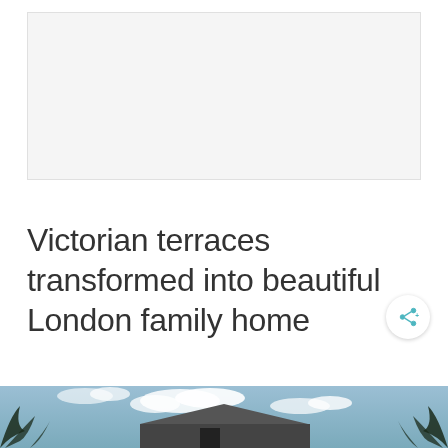[Figure (other): Advertisement placeholder box with light grey background]
Victorian terraces transformed into beautiful London family home
[Figure (photo): Bottom portion of a photo showing a London home exterior with blue sky and clouds, plants visible on left and right edges, and roofline of a house visible at bottom]